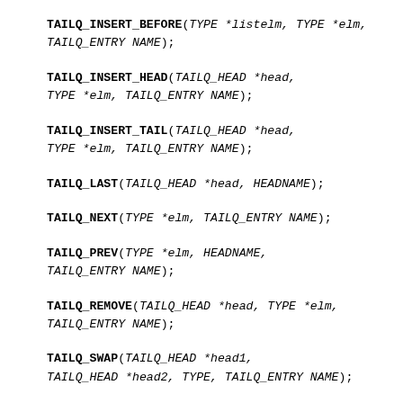TAILQ_INSERT_BEFORE(TYPE *listelm, TYPE *elm, TAILQ_ENTRY NAME);
TAILQ_INSERT_HEAD(TAILQ_HEAD *head, TYPE *elm, TAILQ_ENTRY NAME);
TAILQ_INSERT_TAIL(TAILQ_HEAD *head, TYPE *elm, TAILQ_ENTRY NAME);
TAILQ_LAST(TAILQ_HEAD *head, HEADNAME);
TAILQ_NEXT(TYPE *elm, TAILQ_ENTRY NAME);
TAILQ_PREV(TYPE *elm, HEADNAME, TAILQ_ENTRY NAME);
TAILQ_REMOVE(TAILQ_HEAD *head, TYPE *elm, TAILQ_ENTRY NAME);
TAILQ_SWAP(TAILQ_HEAD *head1, TAILQ_HEAD *head2, TYPE, TAILQ_ENTRY NAME);